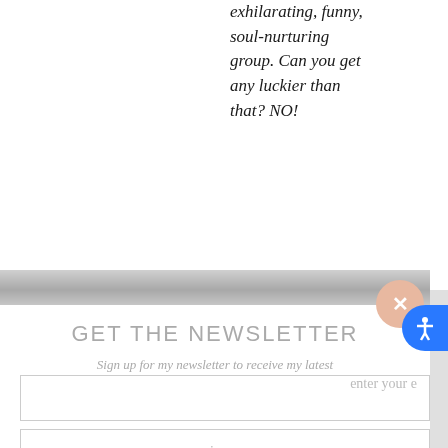exhilarating, funny, soul-nurturing group. Can you get any luckier than that? NO!
GET THE NEWSLETTER
Sign up for my newsletter to receive my latest promotions, products, and other news!
enter your e
sign up